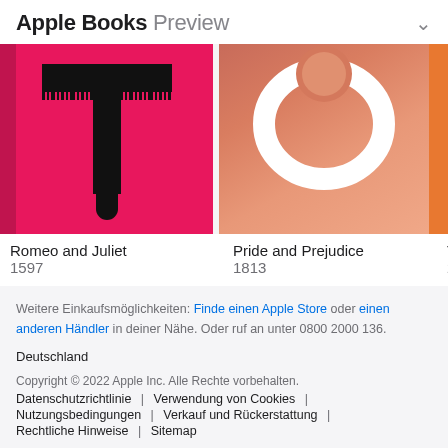Apple Books Preview
[Figure (photo): Book cover of Romeo and Juliet - hot pink/magenta cover with a black cross and barcode design]
[Figure (photo): Book cover of Pride and Prejudice - coral/salmon colored cover with a figure illustration]
[Figure (photo): Partial view of a third book cover in orange]
Romeo and Juliet
1597
Pride and Prejudice
1813
Th...
20...
Weitere Einkaufsmöglichkeiten: Finde einen Apple Store oder einen anderen Händler in deiner Nähe. Oder ruf an unter 0800 2000 136.
Deutschland
Copyright © 2022 Apple Inc. Alle Rechte vorbehalten.
Datenschutzrichtlinie | Verwendung von Cookies |
Nutzungsbedingungen | Verkauf und Rückerstattung |
Rechtliche Hinweise | Sitemap